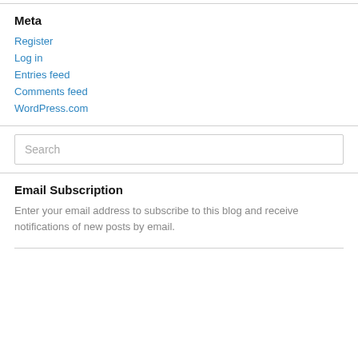Meta
Register
Log in
Entries feed
Comments feed
WordPress.com
Search
Email Subscription
Enter your email address to subscribe to this blog and receive notifications of new posts by email.